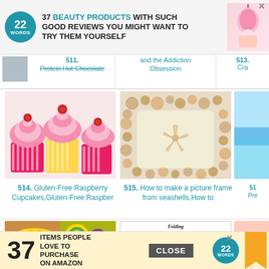[Figure (screenshot): Top advertisement banner: '37 BEAUTY PRODUCTS WITH SUCH GOOD REVIEWS YOU MIGHT WANT TO TRY THEM YOURSELF' with 22words logo]
511. Protein Hot Chocolate
and the Addiction Obsession
513. Cra...
[Figure (photo): Gluten-Free Raspberry Cupcakes with pink frosting and raspberries on top]
[Figure (photo): Picture frame made from seashells and starfish]
[Figure (photo): Partial image cropped on right edge]
514. Gluten-Free Raspberry Cupcakes,Gluten-Free Raspber
515. How to make a picture frame from seashells,How to
51... Pre...
[Figure (photo): Mardi Gras themed food collage with colorful king cake and cookies, labeled '10 Recipes for Mardi Gras']
[Figure (photo): Recipe card showing folding technique instructions in italic script]
[Figure (photo): Partial food image on right edge]
[Figure (screenshot): Bottom advertisement banner: '37 ITEMS PEOPLE LOVE TO PURCHASE ON AMAZON' with 22words logo]